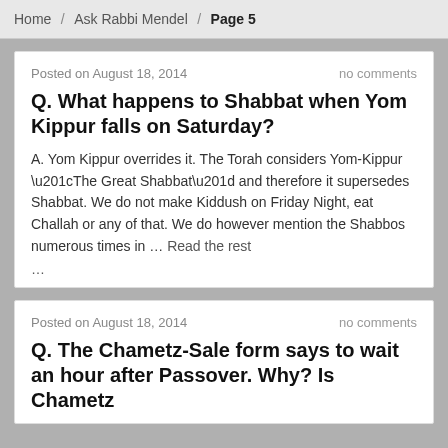Home / Ask Rabbi Mendel / Page 5
Posted on August 18, 2014   no comments
Q. What happens to Shabbat when Yom Kippur falls on Saturday?
A. Yom Kippur overrides it. The Torah considers Yom-Kippur “The Great Shabbat” and therefore it supersedes Shabbat. We do not make Kiddush on Friday Night, eat Challah or any of that. We do however mention the Shabbos numerous times in … Read the rest
…
Posted on August 18, 2014   no comments
Q. The Chametz-Sale form says to wait an hour after Passover. Why? Is Chametz forbidden from the prohibited time for…